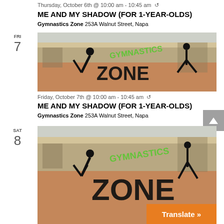Thursday, October 6th @ 10:00 am - 10:45 am ↻
ME AND MY SHADOW (FOR 1-YEAR-OLDS)
Gymnastics Zone 253A Walnut Street, Napa
FRI 7
[Figure (photo): Gymnastics Zone facility interior with GYMNASTICS ZONE logo text overlay]
Friday, October 7th @ 10:00 am - 10:45 am ↻
ME AND MY SHADOW (FOR 1-YEAR-OLDS)
Gymnastics Zone 253A Walnut Street, Napa
SAT 8
[Figure (photo): Gymnastics Zone facility interior with GYMNASTICS ZONE logo text overlay (partial, cropped at bottom)]